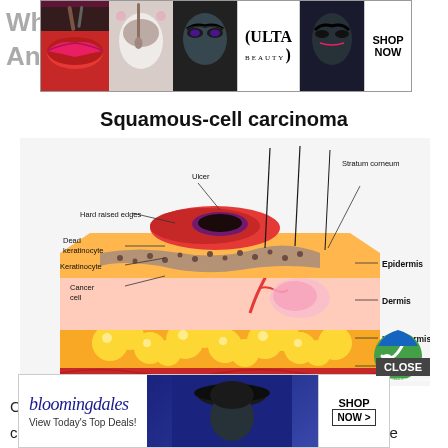[Figure (advertisement): ULTA beauty advertisement banner with makeup images and SHOP NOW button]
What... And Neck
Squamous-cell carcinoma
[Figure (illustration): Medical illustration of squamous-cell carcinoma showing skin layers: Stratum corneum, Epidermis, Dermis, Hypodermis, Muscle layer, with annotations for Ulcer, Hard raised edges, Dead keratinocyte, Keratinocyte, Cancer cell. Small logo in bottom-right corner.]
Cancers that are known collectively as head and neck cancers usually begin in the squamous cells that line the mucosal surfaces of the head and neck. These cancers are referred...and
[Figure (advertisement): Bloomingdale's advertisement: View Today's Top Deals! SHOP NOW > with model wearing hat. CLOSE button above ad.]